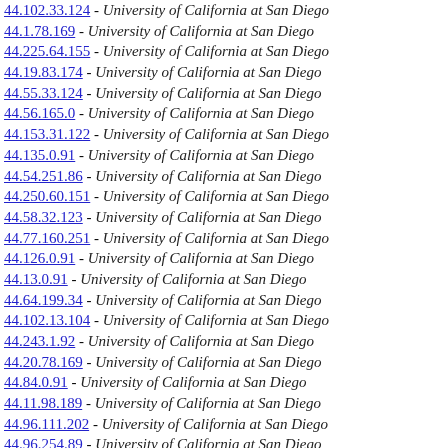44.102.33.124 - University of California at San Diego
44.1.78.169 - University of California at San Diego
44.225.64.155 - University of California at San Diego
44.19.83.174 - University of California at San Diego
44.55.33.124 - University of California at San Diego
44.56.165.0 - University of California at San Diego
44.153.31.122 - University of California at San Diego
44.135.0.91 - University of California at San Diego
44.54.251.86 - University of California at San Diego
44.250.60.151 - University of California at San Diego
44.58.32.123 - University of California at San Diego
44.77.160.251 - University of California at San Diego
44.126.0.91 - University of California at San Diego
44.13.0.91 - University of California at San Diego
44.64.199.34 - University of California at San Diego
44.102.13.104 - University of California at San Diego
44.243.1.92 - University of California at San Diego
44.20.78.169 - University of California at San Diego
44.84.0.91 - University of California at San Diego
44.11.98.189 - University of California at San Diego
44.96.111.202 - University of California at San Diego
44.96.254.89 - University of California at San Diego
44.85.254.89 - University of California at San Diego
44.85.134.225 - University of California at San Diego
44.136.254.89 - University of California at San Diego
44.136.111.202 - University of California at San Diego
44.95.1.92 - University of California at San Diego
44.185.1.92 - University of California at San Diego
44.111.134.225 - University of California at San Diego
44.124.1.92 - University of California at San Diego